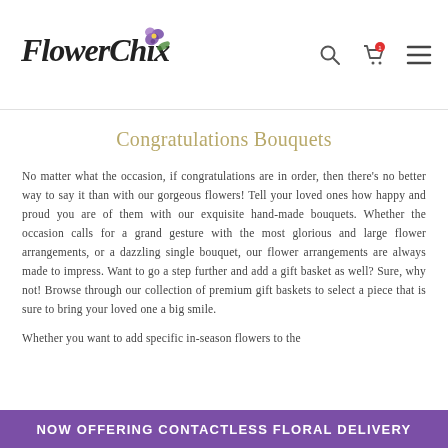FlowerChix [logo with search, cart, menu icons]
Congratulations Bouquets
No matter what the occasion, if congratulations are in order, then there's no better way to say it than with our gorgeous flowers! Tell your loved ones how happy and proud you are of them with our exquisite hand-made bouquets. Whether the occasion calls for a grand gesture with the most glorious and large flower arrangements, or a dazzling single bouquet, our flower arrangements are always made to impress. Want to go a step further and add a gift basket as well? Sure, why not! Browse through our collection of premium gift baskets to select a piece that is sure to bring your loved one a big smile.
Whether you want to add specific in-season flowers to the
NOW OFFERING CONTACTLESS FLORAL DELIVERY